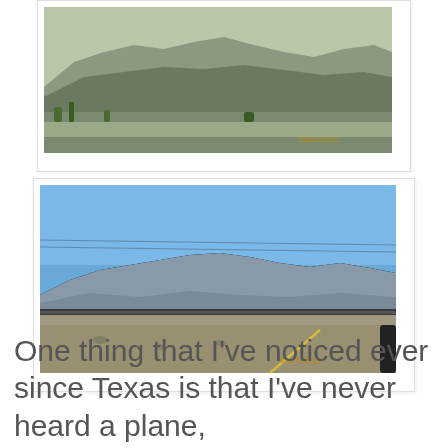[Figure (photo): Partial photo of desert landscape with mountains in background, scrubby vegetation in foreground, road visible. Date stamp visible bottom right.]
[Figure (photo): Photo taken from moving vehicle showing desert highway with guardrail, mountain range in middle distance under clear blue sky. Date stamp visible bottom right reads 08/25/2016.]
One thing that I've noticed ever since Texas is that I've never heard a plane,